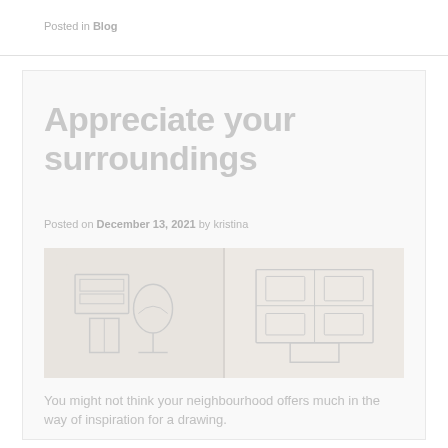Posted in Blog
Appreciate your surroundings
Posted on December 13, 2021 by kristina
[Figure (illustration): Two pencil sketch drawings side by side showing interior scenes with furniture and decorative elements]
You might not think your neighbourhood offers much in the way of inspiration for a drawing.